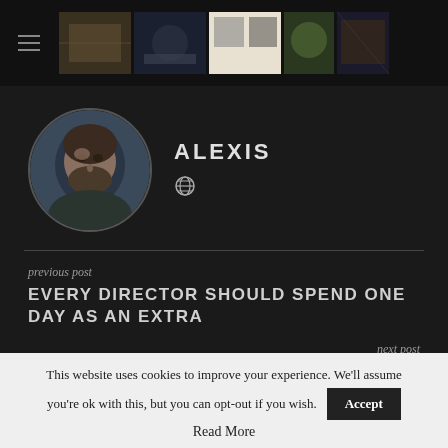Navigation header with hamburger menu and thumbnail images
[Figure (photo): Profile avatar - man with beard in circular crop]
ALEXIS
Globe/world icon
previous post
EVERY DIRECTOR SHOULD SPEND ONE DAY AS AN EXTRA
next post
ARE 3D MOVIES A FAD? WHO CARES?
This website uses cookies to improve your experience. We'll assume you're ok with this, but you can opt-out if you wish. Accept Read More